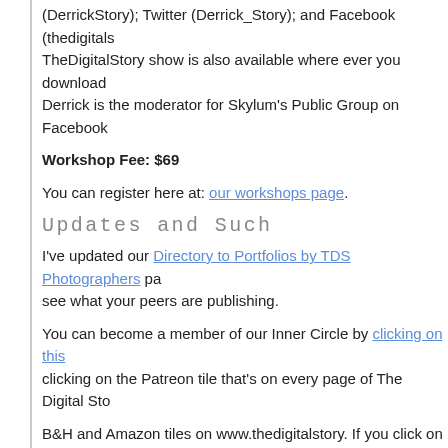(DerrickStory); Twitter (Derrick_Story); and Facebook (thedigitals... TheDigitalStory show is also available where ever you download... Derrick is the moderator for Skylum's Public Group on Facebook.
Workshop Fee: $69
You can register here at: our workshops page.
Updates and Such
I've updated our Directory to Portfolios by TDS Photographers pa... see what your peers are publishing.
You can become a member of our Inner Circle by clicking on this... clicking on the Patreon tile that's on every page of The Digital Sto...
B&H and Amazon tiles on www.thedigitalstory. If you click on the... helping to support this podcast. And speaking of supporting this s... thanks to our Patreon Inner Circle members:
And finally, be sure to visit our friends at Red River Paper for all... supply needs.
See you next week!
More Ways to Participate